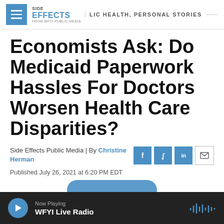SIDE EFFECTS PUBLIC HEALTH, PERSONAL STORIES FROM WFYI PUBLIC MEDIA
Economists Ask: Do Medicaid Paperwork Hassles For Doctors Worsen Health Care Disparities?
Side Effects Public Media | By Christine Herman
Published July 26, 2021 at 6:20 PM EDT
Now Playing WFYI Live Radio